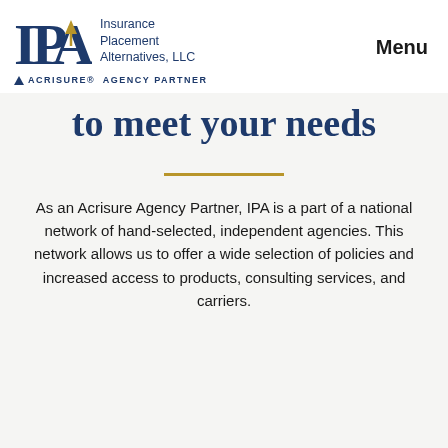[Figure (logo): IPA - Insurance Placement Alternatives, LLC logo with Acrisure Agency Partner designation, and Menu navigation link]
to meet your needs
As an Acrisure Agency Partner, IPA is a part of a national network of hand-selected, independent agencies. This network allows us to offer a wide selection of policies and increased access to products, consulting services, and carriers.